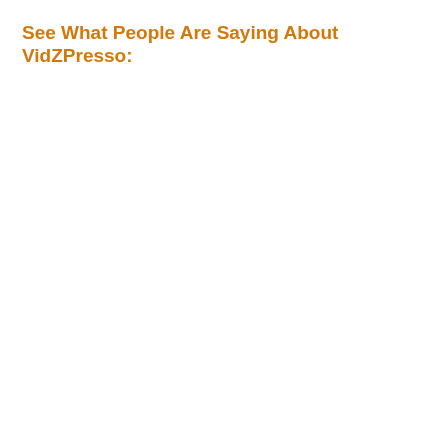See What People Are Saying About VidZPresso: